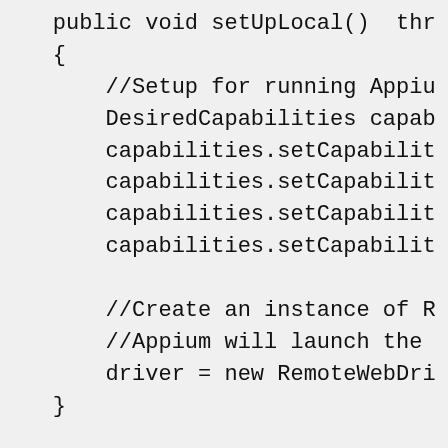[Figure (screenshot): Code snippet showing a Java method setUpLocal() with DesiredCapabilities setup and RemoteWebDriver instantiation. The code is partially cut off on the right side.]